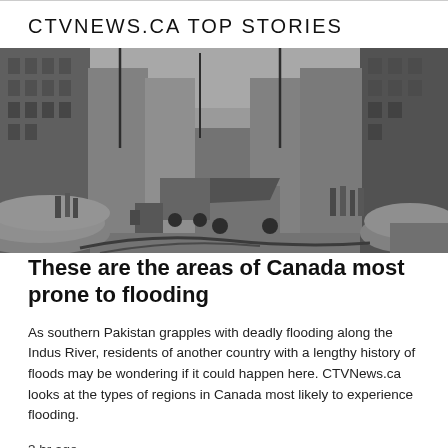CTVNEWS.CA TOP STORIES
[Figure (photo): Black and white historical photograph of a flooded city street in Canada, showing sandbag barriers, trucks, workers, and tall buildings lining both sides of the street.]
These are the areas of Canada most prone to flooding
As southern Pakistan grapples with deadly flooding along the Indus River, residents of another country with a lengthy history of floods may be wondering if it could happen here. CTVNews.ca looks at the types of regions in Canada most likely to experience flooding.
3 hr ago